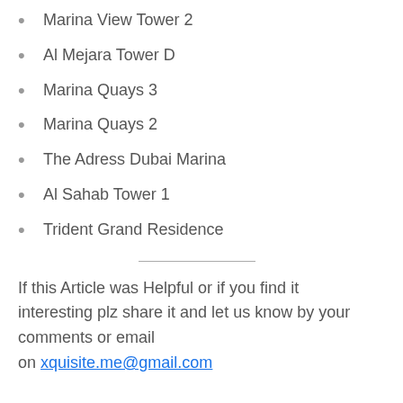Marina View Tower 2
Al Mejara Tower D
Marina Quays 3
Marina Quays 2
The Adress Dubai Marina
Al Sahab Tower 1
Trident Grand Residence
If this Article was Helpful or if you find it interesting plz share it and let us know by your comments or email on xquisite.me@gmail.com